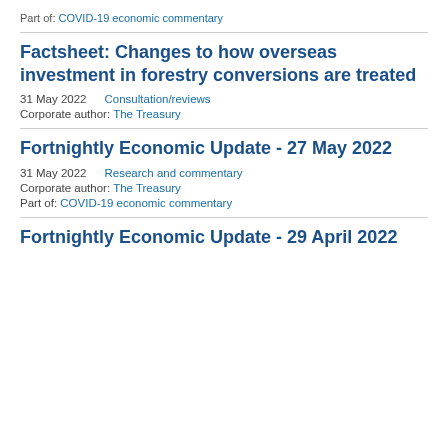Part of: COVID-19 economic commentary
Factsheet: Changes to how overseas investment in forestry conversions are treated
31 May 2022    Consultation/reviews
Corporate author: The Treasury
Fortnightly Economic Update - 27 May 2022
31 May 2022    Research and commentary
Corporate author: The Treasury
Part of: COVID-19 economic commentary
Fortnightly Economic Update - 29 April 2022